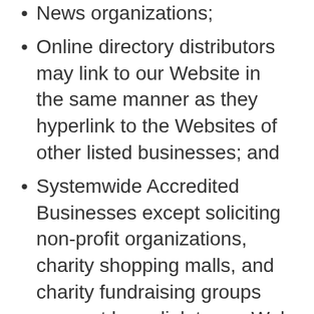News organizations;
Online directory distributors may link to our Website in the same manner as they hyperlink to the Websites of other listed businesses; and
Systemwide Accredited Businesses except soliciting non-profit organizations, charity shopping malls, and charity fundraising groups may not hyperlink to our Web site.
These organizations may link to our home page, to publications, or other